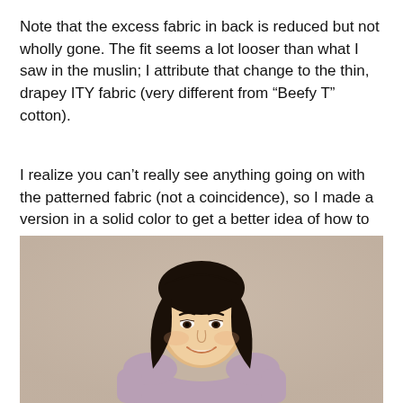Note that the excess fabric in back is reduced but not wholly gone. The fit seems a lot looser than what I saw in the muslin; I attribute that change to the thin, drapey ITY fabric (very different from “Beefy T” cotton).
I realize you can’t really see anything going on with the patterned fabric (not a coincidence), so I made a version in a solid color to get a better idea of how to improve the fit.
[Figure (photo): A woman with short dark hair, smiling, wearing a light purple/mauve scoop-neck long-sleeve top, standing against a beige/taupe background. The photo is cropped from approximately the waist up.]